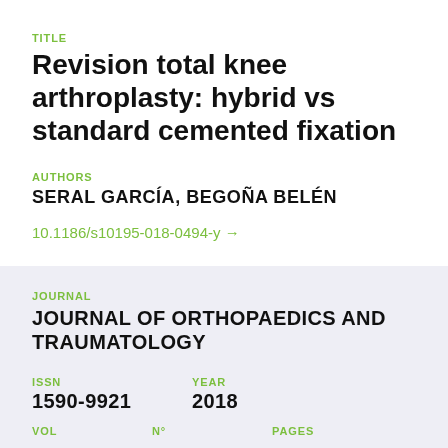TITLE
Revision total knee arthroplasty: hybrid vs standard cemented fixation
AUTHORS
SERAL GARCÍA, BEGOÑA BELÉN
10.1186/s10195-018-0494-y →
JOURNAL
JOURNAL OF ORTHOPAEDICS AND TRAUMATOLOGY
ISSN
1590-9921
YEAR
2018
VOL
Nº
PAGES